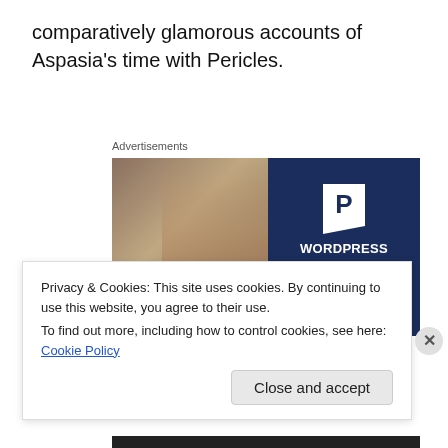comparatively glamorous accounts of Aspasia's time with Pericles.
Advertisements
[Figure (photo): Advertisement for WordPress hosting showing a woman holding an 'OPEN' sign on the left half, and dark blue panel on the right with a 'P' logo and text: WORDPRESS HOSTING THAT MEANS BUSINESS.]
Privacy & Cookies: This site uses cookies. By continuing to use this website, you agree to their use.
To find out more, including how to control cookies, see here: Cookie Policy
Close and accept